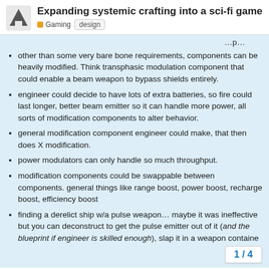Expanding systemic crafting into a sci-fi game
other than some very bare bone requirements, components can be heavily modified. Think transphasic modulation component that could enable a beam weapon to bypass shields entirely.
engineer could decide to have lots of extra batteries, so fire could last longer, better beam emitter so it can handle more power, all sorts of modification components to alter behavior.
general modification component engineer could make, that then does X modification.
power modulators can only handle so much throughput.
modification components could be swappable between components. general things like range boost, power boost, recharge boost, efficiency boost
finding a derelict ship w/a pulse weapon… maybe it was ineffective but you can deconstruct to get the pulse emitter out of it (and the blueprint if engineer is skilled enough), slap it in a weapon containe
1 / 4